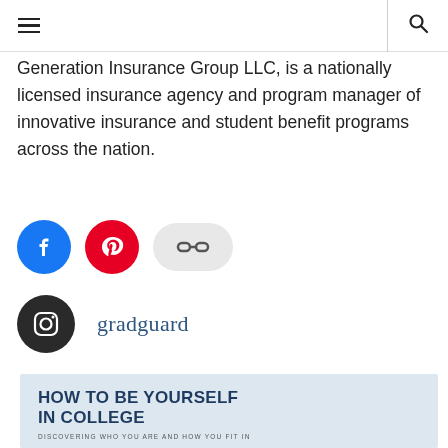☰  🔍
Generation Insurance Group LLC, is a nationally licensed insurance agency and program manager of innovative insurance and student benefit programs across the nation.
[Figure (other): Three social media icon buttons: Facebook (blue circle with f logo), Pinterest (red circle with P logo), and a link/chain icon (light grey pill shape).]
[Figure (other): Instagram icon (dark circle with camera outline) next to the text 'gradguard' in blue-grey serif font.]
[Figure (other): Book preview card with light blue background showing title 'HOW TO BE YOURSELF IN COLLEGE' and subtitle 'DISCOVERING WHO YOU ARE AND HOW YOU FIT IN'.]